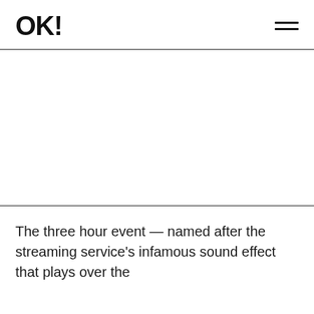OK!
[Figure (photo): Large image area, white/blank placeholder below the OK! magazine header navigation bar.]
The three hour event — named after the streaming service's infamous sound effect that plays over the